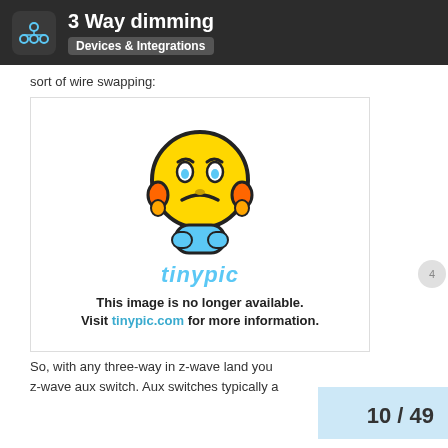3 Way dimming — Devices & Integrations
sort of wire swapping:
[Figure (illustration): Tinypic placeholder image showing a frustrated emoji character with the text 'This image is no longer available. Visit tinypic.com for more information.']
So, with any three-way in z-wave land you z-wave aux switch. Aux switches typically a
10 / 49